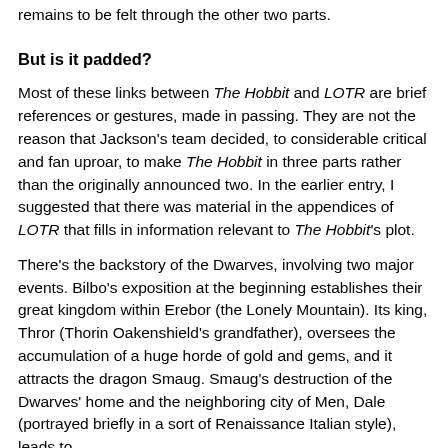…remains to be felt through the other two parts.
But is it padded?
Most of these links between The Hobbit and LOTR are brief references or gestures, made in passing. They are not the reason that Jackson's team decided, to considerable critical and fan uproar, to make The Hobbit in three parts rather than the originally announced two. In the earlier entry, I suggested that there was material in the appendices of LOTR that fills in information relevant to The Hobbit's plot.
There's the backstory of the Dwarves, involving two major events. Bilbo's exposition at the beginning establishes their great kingdom within Erebor (the Lonely Mountain). Its king, Thror (Thorin Oakenshield's grandfather), oversees the accumulation of a huge horde of gold and gems, and it attracts the dragon Smaug. Smaug's destruction of the Dwarves' home and the neighboring city of Men, Dale (portrayed briefly in a sort of Renaissance Italian style), leads to